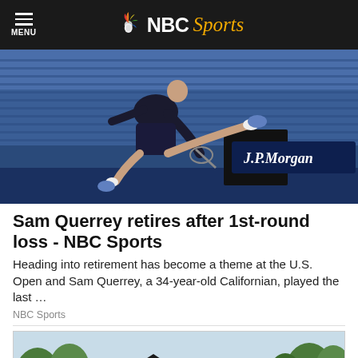NBC Sports
[Figure (photo): Tennis player leaping over the net at a J.P.Morgan sponsored tennis court, wearing dark shorts and shirt]
Sam Querrey retires after 1st-round loss - NBC Sports
Heading into retirement has become a theme at the U.S. Open and Sam Querrey, a 34-year-old Californian, played the last …
NBC Sports
[Figure (photo): Row of small blue and white holiday cottages or cabins surrounded by trees]